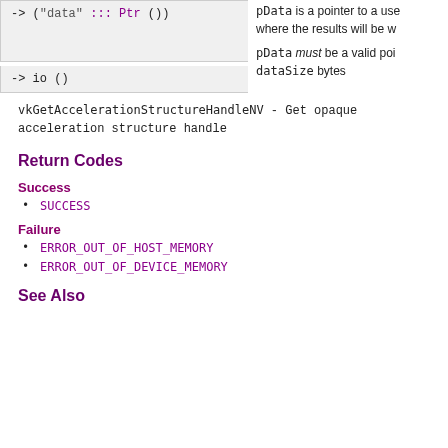-> ("data" ::: Ptr ())
pData is a pointer to a user-allocated buffer where the results will be written to.

pData must be a valid pointer to an array of dataSize bytes
-> io ()
vkGetAccelerationStructureHandleNV - Get opaque acceleration structure handle
Return Codes
Success
SUCCESS
Failure
ERROR_OUT_OF_HOST_MEMORY
ERROR_OUT_OF_DEVICE_MEMORY
See Also